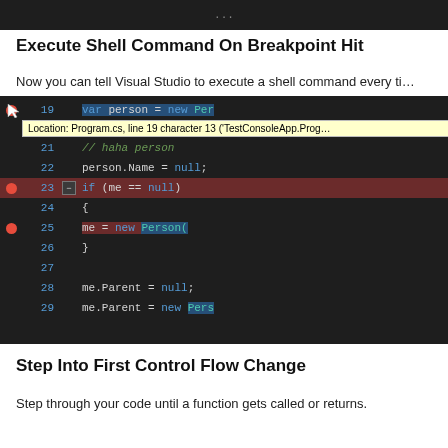[Figure (screenshot): Partial screenshot of a Visual Studio code editor showing a section header partially visible at top]
Execute Shell Command On Breakpoint Hit
Now you can tell Visual Studio to execute a shell command every ti…
[Figure (screenshot): Visual Studio IDE dark theme code editor screenshot showing breakpoints on lines 19, 23, and 25. A tooltip reads: Location: Program.cs, line 19 character 13 ('TestConsoleApp.Prog…'. Code lines show: line 19 highlighted 'var person = new Per…', line 21 '// haha person', line 22 'person.Name = null;', line 23 highlighted 'if (me == null)', line 24 '{', line 25 highlighted 'me = new Person(', line 26 '}', line 27 blank, line 28 'me.Parent = null;', line 29 'me.Parent = new Pers…']
Step Into First Control Flow Change
Step through your code until a function gets called or returns.